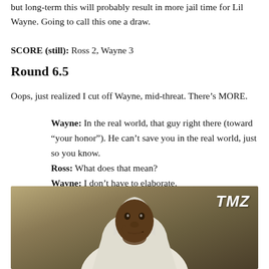but long-term this will probably result in more jail time for Lil Wayne. Going to call this one a draw.
SCORE (still): Ross 2, Wayne 3
Round 6.5
Oops, just realized I cut off Wayne, mid-threat. There’s MORE.
Wayne: In the real world, that guy right there (toward “your honor”). He can’t save you in the real world, just so you know.
Ross: What does that mean?
Wayne: I don’t have to elaborate.
[Figure (photo): Photo of a man wearing a white hoodie, chin resting on hand, with TMZ logo watermark in upper right corner]